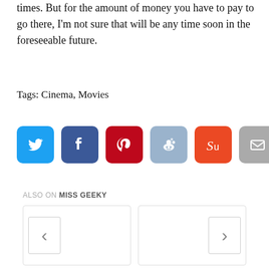times. But for the amount of money you have to pay to go there, I'm not sure that will be any time soon in the foreseeable future.
Tags: Cinema, Movies
[Figure (infographic): Row of social media share buttons: Twitter (blue), Facebook (dark blue), Pinterest (red), Reddit (light blue), StumbleUpon (orange-red), Email (grey), Share (green)]
ALSO ON MISS GEEKY
[Figure (infographic): Two content cards side by side with left chevron navigation on the left card and right chevron navigation on the right card, part of a 'Also on Miss Geeky' related posts widget]